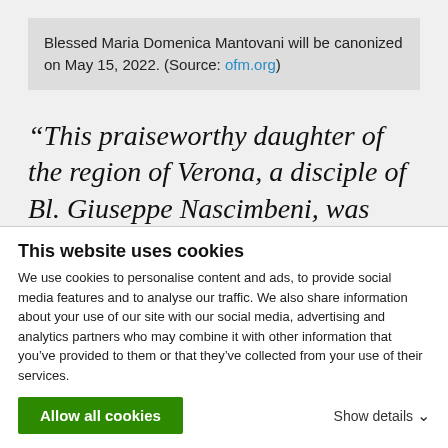Blessed Maria Domenica Mantovani will be canonized on May 15, 2022. (Source: ofm.org)
“This praiseworthy daughter of the region of Verona, a disciple of Bl. Giuseppe Nascimbeni, was inspired by the Holy Family of Nazareth to
This website uses cookies
We use cookies to personalise content and ads, to provide social media features and to analyse our traffic. We also share information about your use of our site with our social media, advertising and analytics partners who may combine it with other information that you’ve provided to them or that they’ve collected from your use of their services.